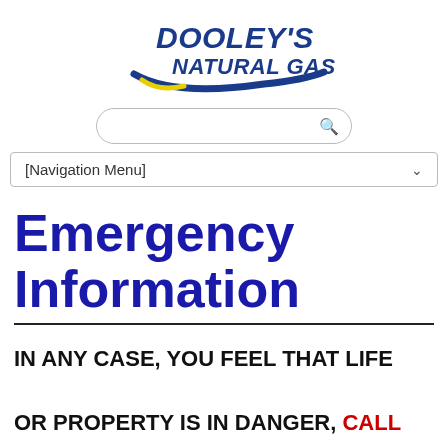[Figure (logo): Dooley's Natural Gas logo with blue swoosh and yellow accent]
[Figure (screenshot): Search bar with magnifying glass icon]
[Figure (screenshot): Navigation Menu dropdown bar]
Emergency Information
IN ANY CASE, YOU FEEL THAT LIFE OR PROPERTY IS IN DANGER, CALL